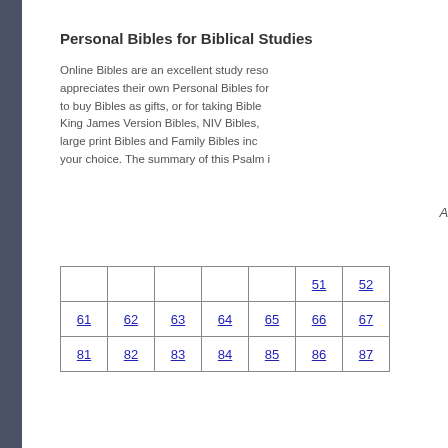Personal Bibles for Biblical Studies
Online Bibles are an excellent study resource. appreciates their own Personal Bibles for to buy Bibles as gifts, or for taking Bible King James Version Bibles, NIV Bibles, large print Bibles and Family Bibles inc your choice. The summary of this Psalm i
A pra
|  |  |  |  |  | 51 | 52 |
| --- | --- | --- | --- | --- | --- | --- |
| 61 | 62 | 63 | 64 | 65 | 66 | 67 |
| 81 | 82 | 83 | 84 | 85 | 86 | 87 |